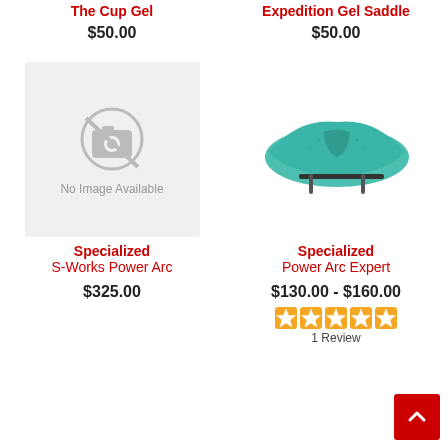The Cup Gel
$50.00
Expedition Gel Saddle
$50.00
[Figure (photo): No image available placeholder with camera icon crossed out]
[Figure (photo): Specialized Power Arc Expert saddle in teal/mint green color]
Specialized S-Works Power Arc
$325.00
Specialized Power Arc Expert
$130.00 - $160.00
1 Review